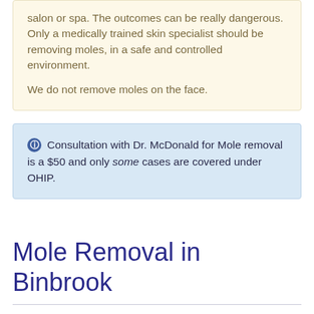salon or spa. The outcomes can be really dangerous. Only a medically trained skin specialist should be removing moles, in a safe and controlled environment. We do not remove moles on the face.
Consultation with Dr. McDonald for Mole removal is a $50 and only some cases are covered under OHIP.
Mole Removal in Binbrook
Moles (Nevi) are a common type of growth on the skin
[Figure (photo): Photo of skin showing moles, partially visible with purple overlay containing 'Have a Question?' chat prompt]